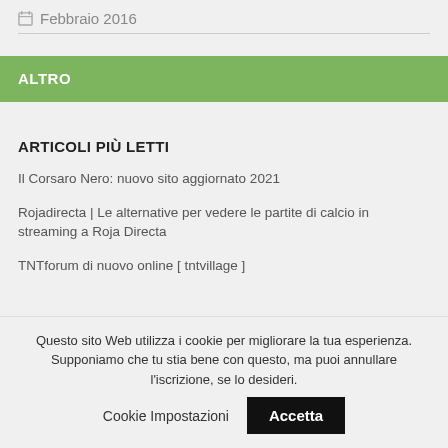Febbraio 2016
ALTRO
ARTICOLI PIÙ LETTI
Il Corsaro Nero: nuovo sito aggiornato 2021
Rojadirecta | Le alternative per vedere le partite di calcio in streaming a Roja Directa
TNTforum di nuovo online [ tntvillage ]
Questo sito Web utilizza i cookie per migliorare la tua esperienza. Supponiamo che tu stia bene con questo, ma puoi annullare l'iscrizione, se lo desideri. Cookie Impostazioni Accetta